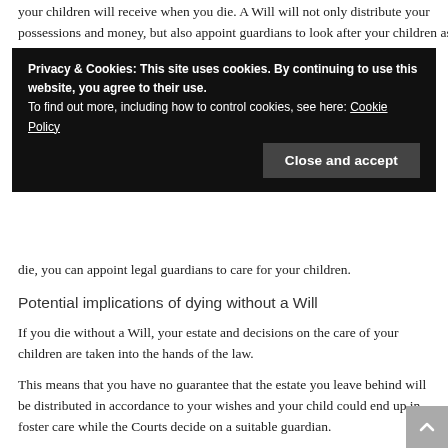your children will receive when you die. A Will will not only distribute your possessions and money, but also appoint guardians to look after your children as they
Privacy & Cookies: This site uses cookies. By continuing to use this website, you agree to their use.
To find out more, including how to control cookies, see here: Cookie Policy
Close and accept
die, you can appoint legal guardians to care for your children.
Potential implications of dying without a Will
If you die without a Will, your estate and decisions on the care of your children are taken into the hands of the law.
This means that you have no guarantee that the estate you leave behind will be distributed in accordance to your wishes and your child could end up in foster care while the Courts decide on a suitable guardian.